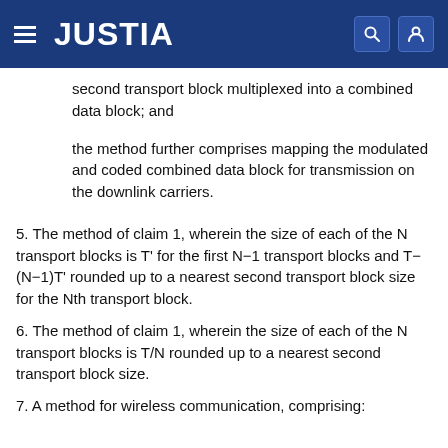JUSTIA
second transport block multiplexed into a combined data block; and
the method further comprises mapping the modulated and coded combined data block for transmission on the downlink carriers.
5. The method of claim 1, wherein the size of each of the N transport blocks is T' for the first N−1 transport blocks and T−(N−1)T' rounded up to a nearest second transport block size for the Nth transport block.
6. The method of claim 1, wherein the size of each of the N transport blocks is T/N rounded up to a nearest second transport block size.
7. A method for wireless communication, comprising: